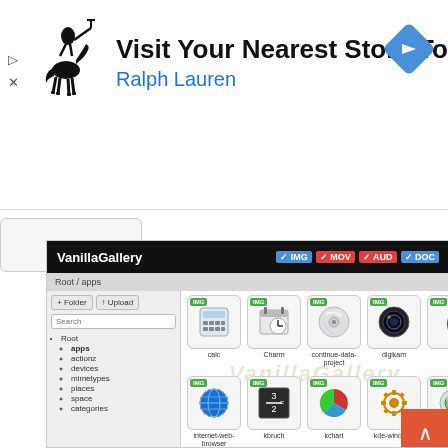[Figure (screenshot): Advertisement banner for Ralph Lauren: 'Visit Your Nearest Store Today' with horse logo and blue navigation icon]
[Figure (screenshot): VanillaGallery web application screenshot showing file browser with app icons (calc, Charm, continue-data-project, digikam, eid, internet-web-browser, kbruch, kchart, kde-windows, kdevelop) in a grid layout with sidebar tree navigation]